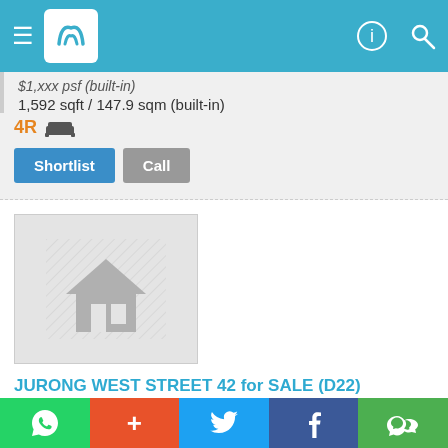PropertyGuru mobile app header
1,592 sqft / 147.9 sqm (built-in)
4R
Shortlist  Call
[Figure (photo): Placeholder property image with home icon silhouette]
JURONG WEST STREET 42 for SALE (D22)
HDB
560A JURONG WEST STREET 42
ENQUIRE
Call +65 61000300
Listed on 30 Aug 22
WhatsApp + Twitter Facebook WeChat